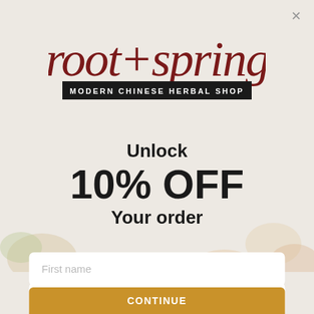[Figure (logo): Root + Spring logo: cursive dark red script 'root+spring' above a black banner reading 'MODERN CHINESE HERBAL SHOP']
Unlock
10% OFF
Your order
First name
Your email
CONTINUE